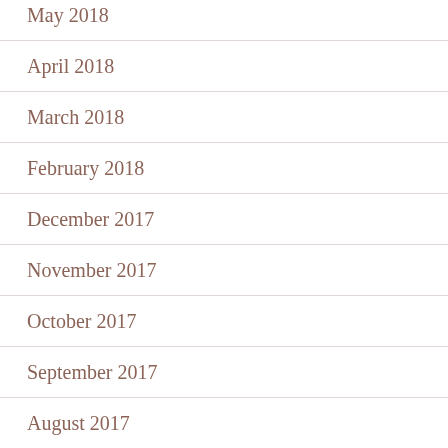May 2018
April 2018
March 2018
February 2018
December 2017
November 2017
October 2017
September 2017
August 2017